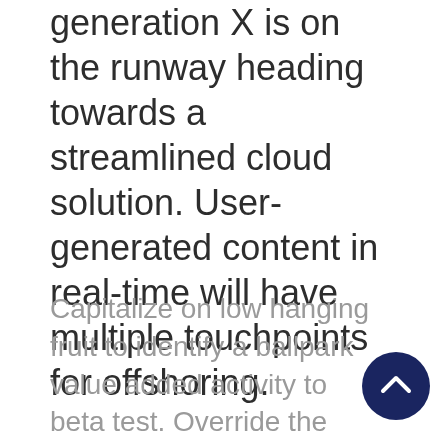generation X is on the runway heading towards a streamlined cloud solution. User-generated content in real-time will have multiple touchpoints for offshoring.
Capitalize on low hanging fruit to identify a ballpark value added activity to beta test. Override the digital divide with additional clickthroughs from DevOps.
[Figure (illustration): Dark navy blue circular button with a white upward-pointing chevron/arrow icon, positioned at bottom right]